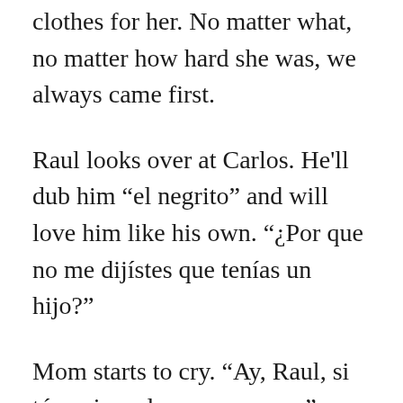clothes for her. No matter what, no matter how hard she was, we always came first.
Raul looks over at Carlos. He'll dub him “el negrito” and will love him like his own. “¿Por que no me dijístes que tenías un hijo?”
Mom starts to cry. “Ay, Raul, si tú supieras lo que me paso.” Mom tells him how